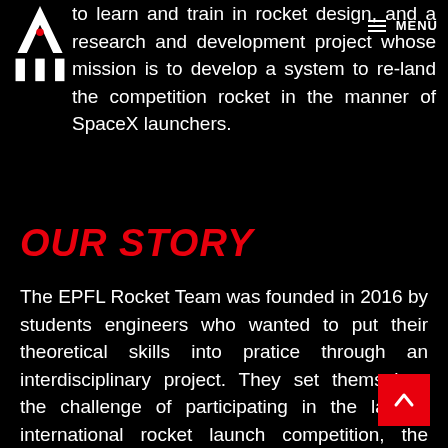☰ MENU
to learn and train in rocket design, and a research and development project whose mission is to develop a system to re-land the competition rocket in the manner of SpaceX launchers.
OUR STORY
The EPFL Rocket Team was founded in 2016 by students engineers who wanted to put their theoretical skills into pratice through an interdisciplinary project. They set themselves the challenge of participating in the largest international rocket launch competition, the Spaceport America Cup, taking place every year